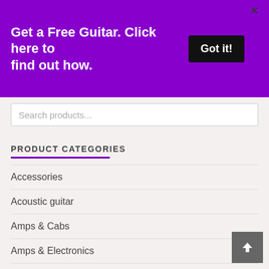[Figure (screenshot): Purple promotional banner with text 'Get a Free Guitar. Click here to find out how.' and a black 'Got it!' button, with an X close button]
Search products...
PRODUCT CATEGORIES
Accessories
Acoustic guitar
Amps & Cabs
Amps & Electronics
Audio
Battery
Benches
Boomboxes
Brass Instruments